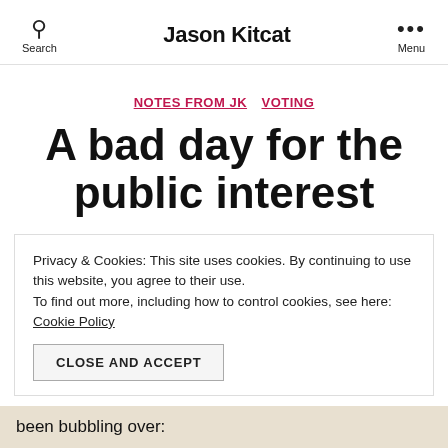Search  Jason Kitcat  Menu
NOTES FROM JK  VOTING
A bad day for the public interest
Privacy & Cookies: This site uses cookies. By continuing to use this website, you agree to their use. To find out more, including how to control cookies, see here: Cookie Policy
CLOSE AND ACCEPT
been bubbling over: